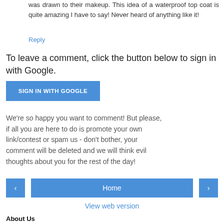was drawn to their makeup. This idea of a waterproof top coat is quite amazing I have to say! Never heard of anything like it!
Reply
To leave a comment, click the button below to sign in with Google.
SIGN IN WITH GOOGLE
We're so happy you want to comment! But please, if all you are here to do is promote your own link/contest or spam us - don't bother, your comment will be deleted and we will think evil thoughts about you for the rest of the day!
< Home >
View web version
About Us